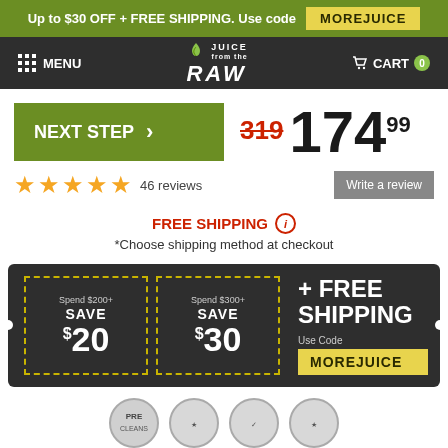Up to $30 OFF + FREE SHIPPING. Use code MOREJUICE
[Figure (logo): Juice from the Raw logo with navigation menu and cart]
NEXT STEP > 319 174.99
★★★★★ 46 reviews   Write a review
FREE SHIPPING ⓘ *Choose shipping method at checkout
Spend $200+ SAVE $20   Spend $300+ SAVE $30   + FREE SHIPPING Use Code MOREJUICE
[Figure (infographic): Four circular badge icons at bottom]